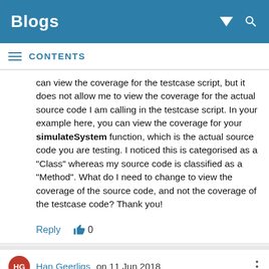Blogs
CONTENTS
can view the coverage for the testcase script, but it does not allow me to view the coverage for the actual source code I am calling in the testcase script. In your example here, you can view the coverage for your simulateSystem function, which is the actual source code you are testing. I noticed this is categorised as a "Class" whereas my source code is classified as a "Method". What do I need to change to view the coverage of the source code, and not the coverage of the testcase code? Thank you!
Reply  👍 0
Han Geerligs on 11 Jun 2018
Hi Andy, I am really happy to hear you are working on Cobertura output for Model Coverage. Any chance to